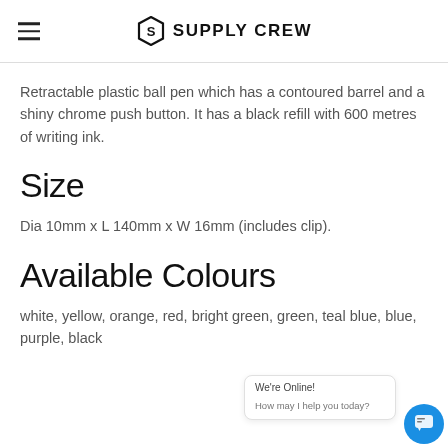Supply Crew
Retractable plastic ball pen which has a contoured barrel and a shiny chrome push button. It has a black refill with 600 metres of writing ink.
Size
Dia 10mm x L 140mm x W 16mm (includes clip).
Available Colours
white, yellow, orange, red, bright green, green, teal blue, blue, purple, black